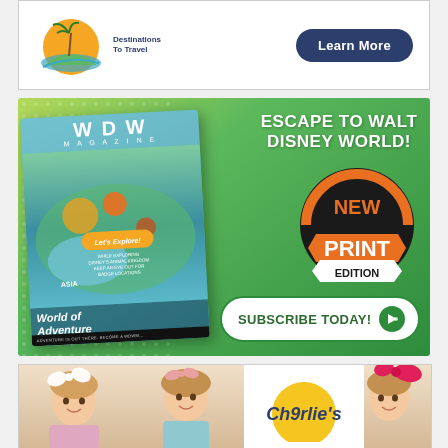[Figure (advertisement): Destinations To Travel agency advertisement with palm tree sunset logo and 'Learn More' dark blue button]
[Figure (advertisement): WDW Magazine advertisement on green background. Text: 'ESCAPE TO WALT DISNEY WORLD!' with magazine cover showing a map, 'NEW PRINT EDITION' badge, world of adventure text, and 'SUBSCRIBE TODAY!' button]
[Figure (advertisement): Charlie's children's products advertisement showing three smiling girls with bows/accessories and the Charlie's logo partially visible]